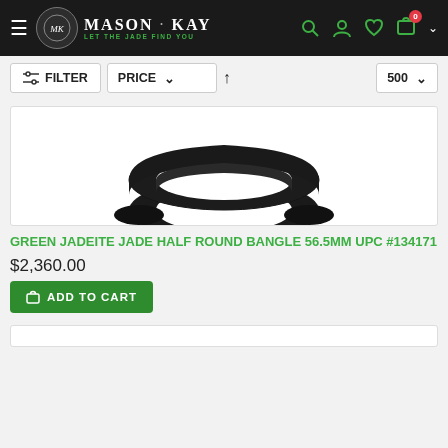Mason-Kay - Jade Excellence Since 1976 - Let The Jade Find You
FILTER | PRICE | 500
[Figure (photo): Black jade half round bangle bracelet on white background]
GREEN JADEITE JADE HALF ROUND BANGLE 56.5MM UPC #134171
$2,360.00
ADD TO CART